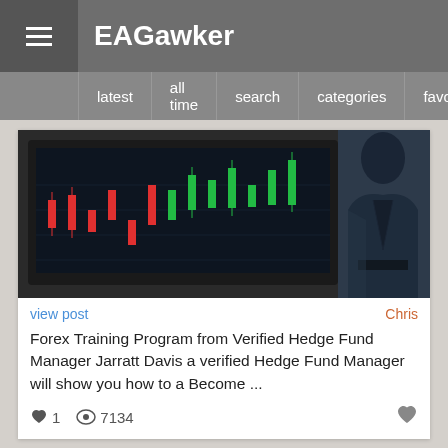EAGawker
latest | all time | search | categories | favorites | share
[Figure (photo): Stock market charts on screens with a person in suit in background]
view post
Chris
Forex Training Program from Verified Hedge Fund Manager Jarratt Davis a verified Hedge Fund Manager will show you how to a Become ...
♥ 1  👁 7134
[Figure (photo): Person in suit touching a digital screen with financial data overlay]